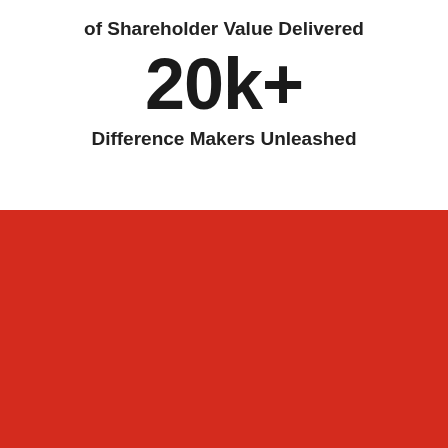of Shareholder Value Delivered
20k+
Difference Makers Unleashed
[Figure (other): Large solid red/crimson rectangle filling the bottom half of the page]